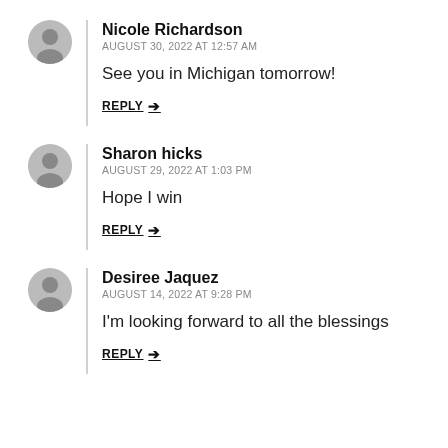Nicole Richardson — AUGUST 30, 2022 AT 12:57 AM — See you in Michigan tomorrow! — REPLY →
Sharon hicks — AUGUST 29, 2022 AT 1:03 PM — Hope I win — REPLY →
Desiree Jaquez — AUGUST 14, 2022 AT 9:28 PM — I'm looking forward to all the blessings — REPLY →